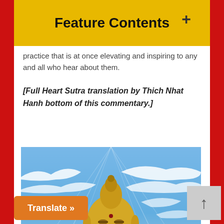Feature Contents
practice that is at once elevating and inspiring to any and all who hear about them.
[Full Heart Sutra translation by Thich Nhat Hanh bottom of this commentary.]
[Figure (photo): Golden Buddha statue with mudra hand gesture against a blue sky with wispy white clouds]
Translate »